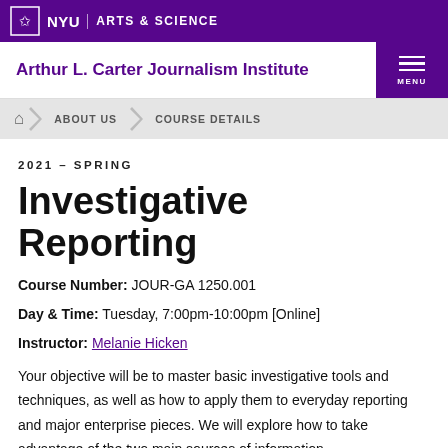NYU | ARTS & SCIENCE
Arthur L. Carter Journalism Institute
ABOUT US › COURSE DETAILS
2021 – SPRING
Investigative Reporting
Course Number: JOUR-GA 1250.001
Day & Time: Tuesday, 7:00pm-10:00pm [Online]
Instructor: Melanie Hicken
Your objective will be to master basic investigative tools and techniques, as well as how to apply them to everyday reporting and major enterprise pieces. We will explore how to take advantage of the two main sources of information